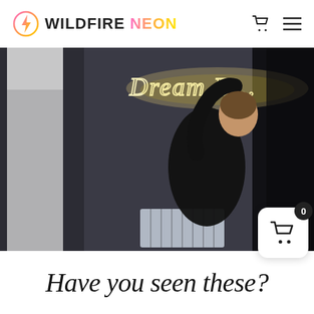WILDFIRE NEON
[Figure (photo): A woman dressed in black reaching up to install or adjust a glowing neon sign reading 'Dream' on a wall. A white wedding dress hangs on the left side. The image is dimly lit with the neon sign providing warm light.]
Have you seen these?